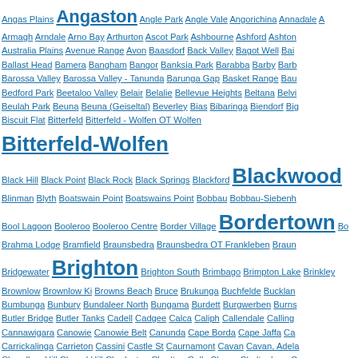Angas Plains Angaston Angle Park Angle Vale Angorichina Annadale Armagh Arndale Arno Bay Arthurton Ascot Park Ashbourne Ashford Ashton Australia Plains Avenue Range Avon Baasdorf Back Valley Bagot Well Ballast Head Bamera Bangham Bangor Banksia Park Barabba Barby Barossa Valley Barossa Valley - Tanunda Barunga Gap Basket Range Bedford Park Beetaloo Valley Belair Belalie Bellevue Heights Beltana Beulah Park Beuna Beuna (Geiseltal) Beverley Bias Bibaringa Biendorf Biscuit Flat Bitterfeld Bitterfeld - Wolfen OT Wolfen Bitterfeld-Wolfen Black Hill Black Point Black Rock Black Springs Blackford Blackwood Blinman Blyth Boatswain Point Boatswains Point Bobbau Bobbau-Siebenhofen Bool Lagoon Booleroo Booleroo Centre Border Village Bordertown Brahma Lodge Bramfield Braunsbedra Braunsbedra OT Frankleben Bridgewater Brighton Brighton South Brimbago Brimpton Lake Brinkley Brownlow Brownlow Ki Browns Beach Bruce Brukunga Buchfelde Bucklan Bumbunga Bunbury Bundaleer North Bungama Burdett Burgwerben Burns Butler Bridge Butler Tanks Cadell Cadgee Calca Caliph Callendale Calling Cannawigara Canowie Canowie Belt Canunda Cape Borda Cape Jaffa Carrickalinga Carrieton Cassini Castle St Caurnamont Cavan Cavan, Adelaide Chandlers Hill Chapel Hill Charleston Charlton Gully Charra Cheltenham Christie Downs Christies Beach Christies Beach North City Clapham Clayton Bay Clearview Cleland Clements Gap Cleve Clinton Centre Clove Cockaleechie Cockatoo Valley Cockburn Coffin Bay Colebatch Coles Colleg